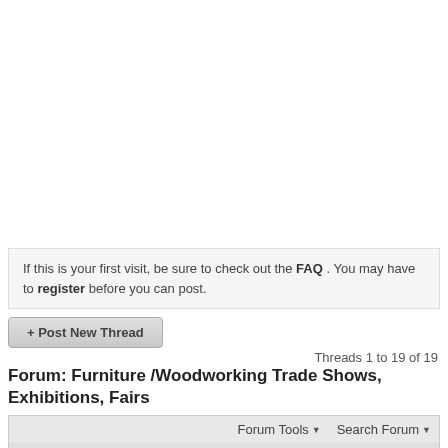If this is your first visit, be sure to check out the FAQ . You may have to register before you can post.
+ Post New Thread
Threads 1 to 19 of 19
Forum: Furniture /Woodworking Trade Shows, Exhibitions, Fairs
Forum Tools ▾   Search Forum ▾
| Title / Thread Starter | Replies / | Last Post By ▾ |
| --- | --- | --- |